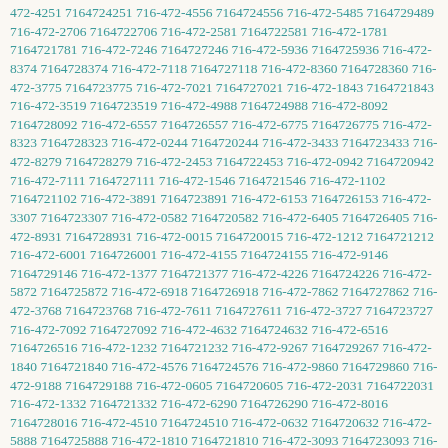472-4251 7164724251 716-472-4556 7164724556 716-472-5485 7164729489 716-472-2706 7164722706 716-472-2581 7164722581 716-472-1781 7164721781 716-472-7246 7164727246 716-472-5936 7164725936 716-472-8374 7164728374 716-472-7118 7164727118 716-472-8360 7164728360 716-472-3775 7164723775 716-472-7021 7164727021 716-472-1843 7164721843 716-472-3519 7164723519 716-472-4988 7164724988 716-472-8092 7164728092 716-472-6557 7164726557 716-472-6775 7164726775 716-472-8323 7164728323 716-472-0244 7164720244 716-472-3433 7164723433 716-472-8279 7164728279 716-472-2453 7164722453 716-472-0942 7164720942 716-472-7111 7164727111 716-472-1546 7164721546 716-472-1102 7164721102 716-472-3891 7164723891 716-472-6153 7164726153 716-472-3307 7164723307 716-472-0582 7164720582 716-472-6405 7164726405 716-472-8931 7164728931 716-472-0015 7164720015 716-472-1212 7164721212 716-472-6001 7164726001 716-472-4155 7164724155 716-472-9146 7164729146 716-472-1377 7164721377 716-472-4226 7164724226 716-472-5872 7164725872 716-472-6918 7164726918 716-472-7862 7164727862 716-472-3768 7164723768 716-472-7611 7164727611 716-472-3727 7164723727 716-472-7092 7164727092 716-472-4632 7164724632 716-472-6516 7164726516 716-472-1232 7164721232 716-472-9267 7164729267 716-472-1840 7164721840 716-472-4576 7164724576 716-472-9860 7164729860 716-472-9188 7164729188 716-472-0605 7164720605 716-472-2031 7164722031 716-472-1332 7164721332 716-472-6290 7164726290 716-472-8016 7164728016 716-472-4510 7164724510 716-472-0632 7164720632 716-472-5888 7164725888 716-472-1810 7164721810 716-472-3093 7164723093 716-472-1234 7164721234 716-472-0202